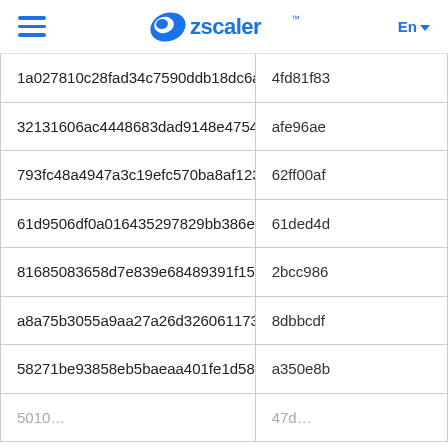Zscaler En
| Hash col 1 | Hash col 2 |
| --- | --- |
| 1a027810c28fad34c7590ddb18dc6a51 | 4fd81f83… |
| 32131606ac4448683dad9148e4754f81 | afe96ae… |
| 793fc48a4947a3c19efc570ba8af1235 | 62ff00af… |
| 61d9506df0a016435297829bb386e4b8 | 61ded4d… |
| 81685083658d7e839e68489391f15a05 | 2bcc986… |
| a8a75b3055a9aa27a26d326061173287 | 8dbbcdf… |
| 58271be93858eb5baeaa401fe1d583bb | a350e8b… |
| 5010… | 47d… |